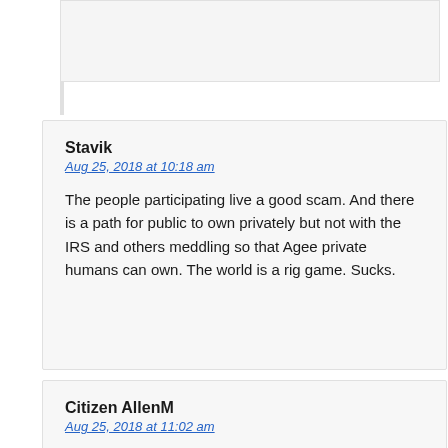Stavik
Aug 25, 2018 at 10:18 am

The people participating live a good scam. And there is a path for public to own privately but not with the IRS and others meddling so that Agee private humans can own. The world is a rig game. Sucks.
Citizen AllenM
Aug 25, 2018 at 11:02 am

The real money is made in selling the options- the unborrow status means crazy premiums for the